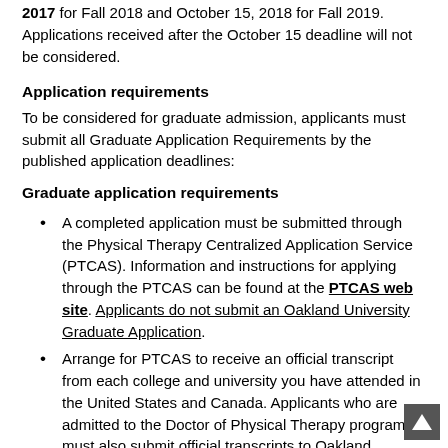2017 for Fall 2018 and October 15, 2018 for Fall 2019. Applications received after the October 15 deadline will not be considered.
Application requirements
To be considered for graduate admission, applicants must submit all Graduate Application Requirements by the published application deadlines:
Graduate application requirements
A completed application must be submitted through the Physical Therapy Centralized Application Service (PTCAS). Information and instructions for applying through the PTCAS can be found at the PTCAS web site. Applicants do not submit an Oakland University Graduate Application.
Arrange for PTCAS to receive an official transcript from each college and university you have attended in the United States and Canada. Applicants who are admitted to the Doctor of Physical Therapy program must also submit official transcripts to Oakland University Graduate...